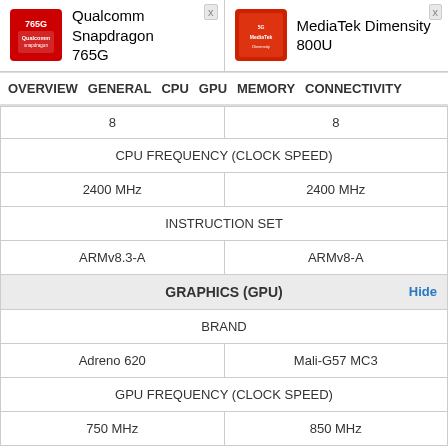[Figure (screenshot): Qualcomm Snapdragon 765G chip logo — red square with white Qualcomm branding]
Qualcomm Snapdragon 765G
[Figure (screenshot): MediaTek Dimensity 800U chip logo — red/orange square with MediaTek branding]
MediaTek Dimensity 800U
OVERVIEW   GENERAL   CPU   GPU   MEMORY   CONNECTIVITY
| 8 | 8 |
| CPU FREQUENCY (CLOCK SPEED) |  |
| 2400 MHz | 2400 MHz |
| INSTRUCTION SET |  |
| ARMv8.3-A | ARMv8-A |
| GRAPHICS (GPU) | Hide |
| BRAND |  |
| Adreno 620 | Mali-G57 MC3 |
| GPU FREQUENCY (CLOCK SPEED) |  |
| 750 MHz | 850 MHz |